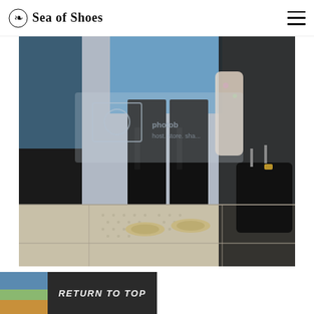Sea of Shoes
[Figure (photo): Street photo showing legs of a person wearing black cropped leather pants and snake-print loafers, holding or near a large black leather tote bag, on a dotted paved sidewalk. Photobucket watermark visible.]
[Figure (photo): Partial bottom strip showing another photo on the left and a dark button on the right reading RETURN TO TOP]